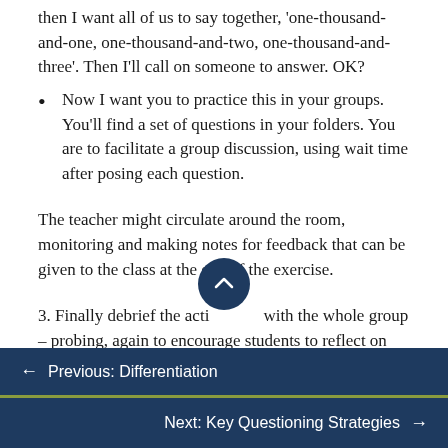then I want all of us to say together, 'one-thousand-and-one, one-thousand-and-two, one-thousand-and-three'. Then I'll call on someone to answer. OK?
Now I want you to practice this in your groups. You'll find a set of questions in your folders. You are to facilitate a group discussion, using wait time after posing each question.
The teacher might circulate around the room, monitoring and making notes for feedback that can be given to the class at the end of the exercise.
3. Finally debrief the activity with the whole group – probing, again to encourage students to reflect on
← Previous: Differentiation
Next: Key Questioning Strategies →